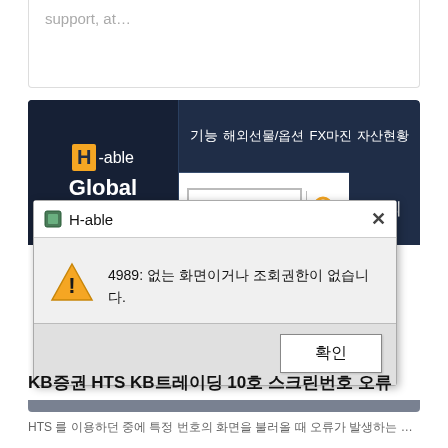support, at…
[Figure (screenshot): H-able Global HTS application screenshot showing navigation menu with 기능, 해외선물/옵션, FX마진, 자산현황 items, a search field showing '4989', and a dialog box with title 'H-able' and message '4989: 없는 화면이거나 조회권한이 없습니다.' with a 확인 (OK) button.]
KB증권 HTS KB트레이딩 10호 스크린번호 오류
HTS 를 이용하던 중에 특정 번호의 화면을 불러올 때 오류가 발생하는 경우가 있습니다. 이런 경우에는 다른 번호를 사용하시거나